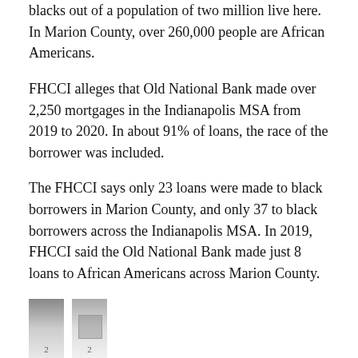blacks out of a population of two million live here. In Marion County, over 260,000 people are African Americans.
FHCCI alleges that Old National Bank made over 2,250 mortgages in the Indianapolis MSA from 2019 to 2020. In about 91% of loans, the race of the borrower was included.
The FHCCI says only 23 loans were made to black borrowers in Marion County, and only 37 to black borrowers across the Indianapolis MSA. In 2019, FHCCI said the Old National Bank made just 8 loans to African Americans across Marion County.
[Figure (illustration): Two grayscale thumbnail image placeholders shown side by side with small numbered icons beneath them.]
FHCCI Executive Director Amy Nelson said that in Marion County, nearly 15% of the four peer lenders they studied have made loans to black borrowers.
Nelson said the Old National Bank website lists where its mortgage originators work across the Indianapolis MSA. She